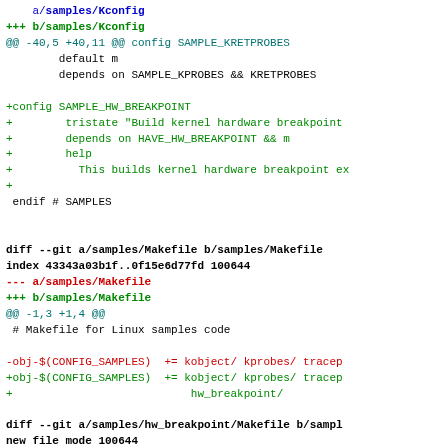a/ samples/Kconfig
+++ b/samples/Kconfig
@@ -40,5 +40,11 @@ config SAMPLE_KRETPROBES
        default m
        depends on SAMPLE_KPROBES && KRETPROBES

+config SAMPLE_HW_BREAKPOINT
+        tristate "Build kernel hardware breakpoint
+        depends on HAVE_HW_BREAKPOINT && m
+        help
+          This builds kernel hardware breakpoint ex
+
 endif # SAMPLES

diff --git a/samples/Makefile b/samples/Makefile
index 43343a03b1f..0f15e6d77fd 100644
--- a/samples/Makefile
+++ b/samples/Makefile
@@ -1,3 +1,4 @@
 # Makefile for Linux samples code

-obj-$(CONFIG_SAMPLES)  += kobject/ kprobes/ tracep
+obj-$(CONFIG_SAMPLES)  += kobject/ kprobes/ tracep
+                           hw_breakpoint/

diff --git a/samples/hw_breakpoint/Makefile b/sampl
new file mode 100644
index 0000000000..0f5c31c2fc4
--- /dev/null
+++ b/samples/hw_breakpoint/Makefile